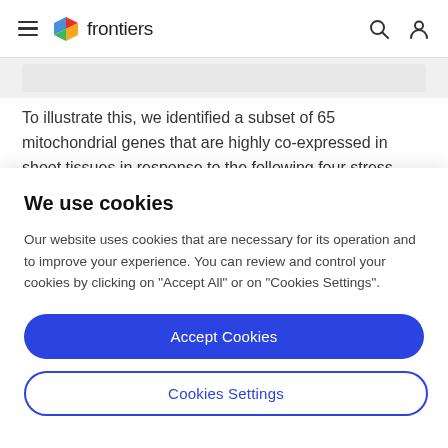frontiers
To illustrate this, we identified a subset of 65 mitochondrial genes that are highly co-expressed in shoot tissues in response to the following four stress
We use cookies
Our website uses cookies that are necessary for its operation and to improve your experience. You can review and control your cookies by clicking on "Accept All" or on "Cookies Settings".
Accept Cookies
Cookies Settings